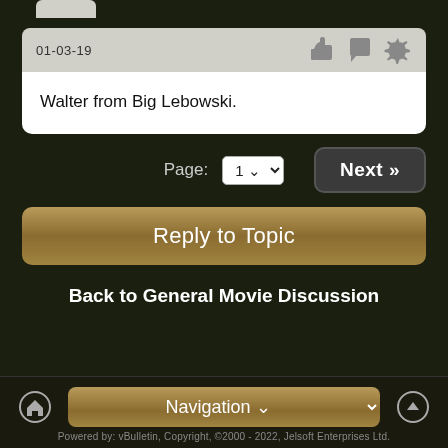01-03-19
Walter from Big Lebowski.
Page: 1
Next »
Reply to Topic
Back to General Movie Discussion
Navigation
Powered by: vBulletin, Copyright, ©2000 - 2022, Jelsoft Enterprises Ltd.